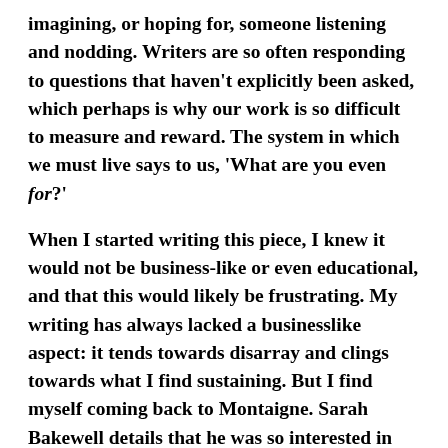imagining, or hoping for, someone listening and nodding. Writers are so often responding to questions that haven't explicitly been asked, which perhaps is why our work is so difficult to measure and reward. The system in which we must live says to us, 'What are you even for?'
When I started writing this piece, I knew it would not be business-like or even educational, and that this would likely be frustrating. My writing has always lacked a businesslike aspect: it tends towards disarray and clings towards what I find sustaining. But I find myself coming back to Montaigne. Sarah Bakewell details that he was so interested in the idea of what consciousness was, that he had someone regularly shake him awake in the middle of the night so that he could catch a glimpse of unconsciousness just as it was leaving him. Bakewell observes that it was like he wanted to be in a dream, a